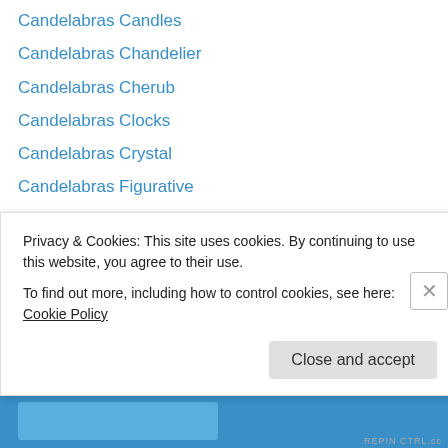Candelabras Candles
Candelabras Chandelier
Candelabras Cherub
Candelabras Clocks
Candelabras Crystal
Candelabras Figurative
Candelabras Figurine
Candelabras Lamps
Candelabras Light
Candelabras Mirror
Candelabras Statue
Candelabras Table Lamps
Candelabras Torcheres
Candlesticks
Privacy & Cookies: This site uses cookies. By continuing to use this website, you agree to their use.
To find out more, including how to control cookies, see here: Cookie Policy